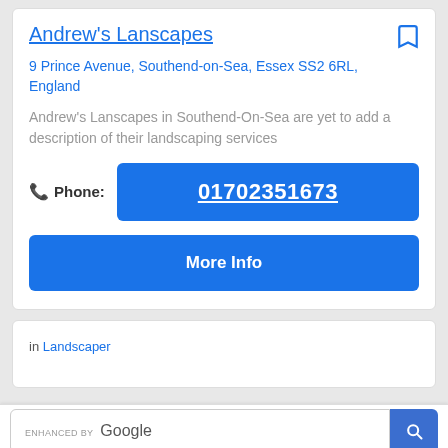Andrew's Lanscapes
9 Prince Avenue, Southend-on-Sea, Essex SS2 6RL, England
Andrew's Lanscapes in Southend-On-Sea are yet to add a description of their landscaping services
Phone: 01702351673
More Info
in Landscaper
ENHANCED BY Google